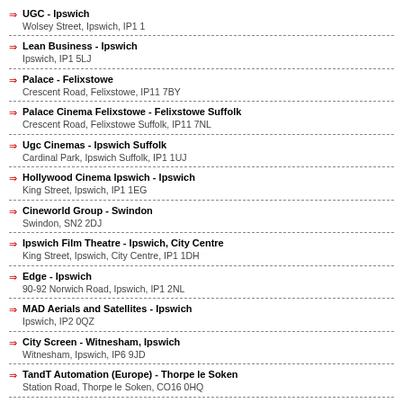UGC - Ipswich
Wolsey Street, Ipswich, IP1 1
Lean Business - Ipswich
Ipswich, IP1 5LJ
Palace - Felixstowe
Crescent Road, Felixstowe, IP11 7BY
Palace Cinema Felixstowe - Felixstowe Suffolk
Crescent Road, Felixstowe Suffolk, IP11 7NL
Ugc Cinemas - Ipswich Suffolk
Cardinal Park, Ipswich Suffolk, IP1 1UJ
Hollywood Cinema Ipswich - Ipswich
King Street, Ipswich, IP1 1EG
Cineworld Group - Swindon
Swindon, SN2 2DJ
Ipswich Film Theatre - Ipswich, City Centre
King Street, Ipswich, City Centre, IP1 1DH
Edge - Ipswich
90-92 Norwich Road, Ipswich, IP1 2NL
MAD Aerials and Satellites - Ipswich
Ipswich, IP2 0QZ
City Screen - Witnesham, Ipswich
Witnesham, Ipswich, IP6 9JD
TandT Automation (Europe) - Thorpe le Soken
Station Road, Thorpe le Soken, CO16 0HQ